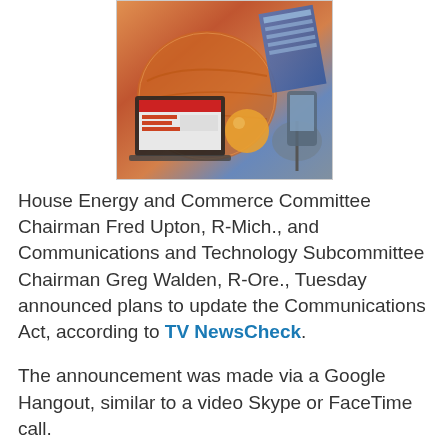[Figure (illustration): Colorful illustration of technology and communications devices including a laptop, satellite dish, globe, and other tech imagery in warm orange and blue tones.]
House Energy and Commerce Committee Chairman Fred Upton, R-Mich., and Communications and Technology Subcommittee Chairman Greg Walden, R-Ore., Tuesday announced plans to update the Communications Act, according to TV NewsCheck.
The announcement was made via a Google Hangout, similar to a video Skype or FaceTime call.
“Today we are launching a multi-year effort to examine our nation’s communications laws and update them for the Internet era,” Upton said.
“The United States has been the global leader in innovation and growth of the Internet, but unfortunately, our communications laws have failed to keep pace. Throughout